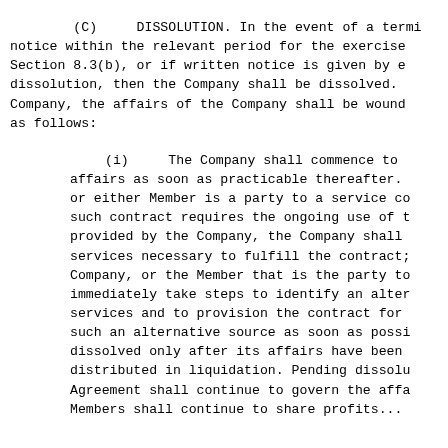(C)    DISSOLUTION. In the event of a termi notice within the relevant period for the exercise Section 8.3(b), or if written notice is given by e dissolution, then the Company shall be dissolved. Company, the affairs of the Company shall be wound as follows:
(i)    The Company shall commence to affairs as soon as practicable thereafter. or either Member is a party to a service co such contract requires the ongoing use of t provided by the Company, the Company shall services necessary to fulfill the contract; Company, or the Member that is the party to immediately take steps to identify an alter services and to provision the contract for such an alternative source as soon as possi dissolved only after its affairs have been distributed in liquidation. Pending dissolu Agreement shall continue to govern the affa Members shall continue to share profits...